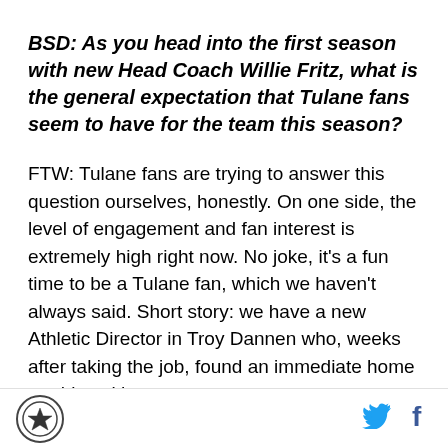BSD: As you head into the first season with new Head Coach Willie Fritz, what is the general expectation that Tulane fans seem to have for the team this season?
FTW: Tulane fans are trying to answer this question ourselves, honestly. On one side, the level of engagement and fan interest is extremely high right now. No joke, it's a fun time to be a Tulane fan, which we haven't always said. Short story: we have a new Athletic Director in Troy Dannen who, weeks after taking the job, found an immediate home run hire with
[Logo icon] [Twitter icon] [Facebook icon]